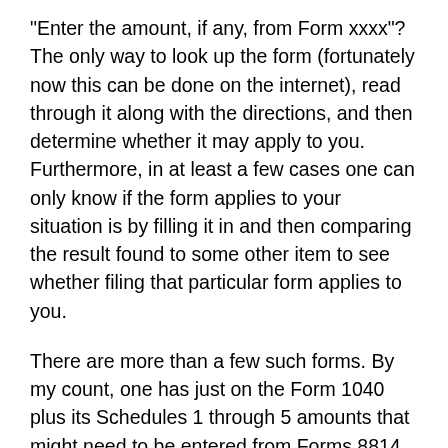“Enter the amount, if any, from Form xxxx”?  The only way to look up the form (fortunately now this can be done on the internet), read through it along with the directions, and then determine whether it may apply to you.  Furthermore, in at least a few cases one can only know if the form applies to your situation is by filling it in and then comparing the result found to some other item to see whether filing that particular form applies to you.
There are more than a few such forms.  By my count, one has just on the Form 1040 plus its Schedules 1 through 5 amounts that might need to be entered from Forms 8814, 4972, 8812, 8863, 4797, 8889, 2106, 3903, SE, 6251, 8962, 2441, 8863, 8880, 5695, 3800, 8801,1116, 4137, 8919, 5329, 5405, 8959, 8960, 965-A, 8962, 4136, 2439, and 8885.  Each of these forms may apply to certain taxpayers, but mostly only a tiny fraction of them.  But all